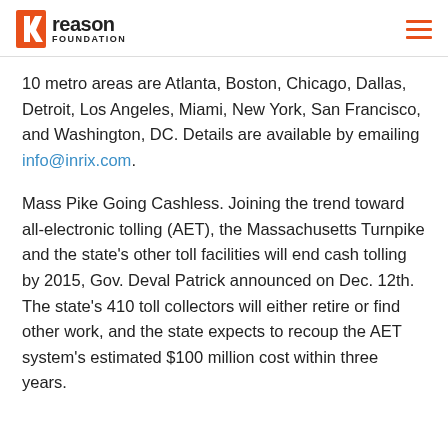reason FOUNDATION
10 metro areas are Atlanta, Boston, Chicago, Dallas, Detroit, Los Angeles, Miami, New York, San Francisco, and Washington, DC. Details are available by emailing info@inrix.com.
Mass Pike Going Cashless. Joining the trend toward all-electronic tolling (AET), the Massachusetts Turnpike and the state's other toll facilities will end cash tolling by 2015, Gov. Deval Patrick announced on Dec. 12th. The state's 410 toll collectors will either retire or find other work, and the state expects to recoup the AET system's estimated $100 million cost within three years.